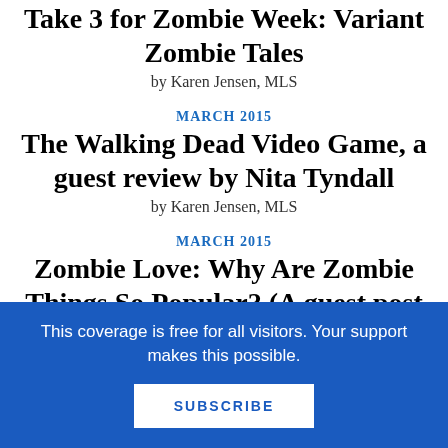Take 3 for Zombie Week: Variant Zombie Tales
by Karen Jensen, MLS
MARCH 2015
The Walking Dead Video Game, a guest review by Nita Tyndall
by Karen Jensen, MLS
MARCH 2015
Zombie Love: Why Are Zombie Things So Popular? (A guest post by Geri Diorio)
by Karen Jensen, MLS
This coverage is free for all visitors. Your support makes this possible.
SUBSCRIBE